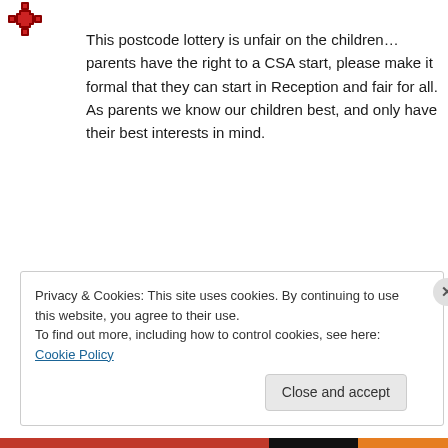[Figure (illustration): Small red decorative avatar/icon in top-left corner]
This postcode lottery is unfair on the children… parents have the right to a CSA start, please make it formal that they can start in Reception and fair for all. As parents we know our children best, and only have their best interests in mind.
★ Like
↪ Reply
Privacy & Cookies: This site uses cookies. By continuing to use this website, you agree to their use.
To find out more, including how to control cookies, see here: Cookie Policy
Close and accept